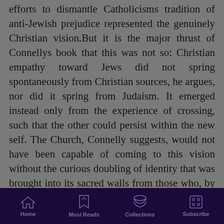efforts to dismantle Catholicisms tradition of anti-Jewish prejudice represented the genuinely Christian vision.But it is the major thrust of Connellys book that this was not so: Christian empathy toward Jews did not spring spontaneously from Christian sources, he argues, nor did it spring from Judaism. It emerged instead only from the experience of crossing, such that the other could persist within the new self. The Church, Connelly suggests, would not have been capable of coming to this vision without the curious doubling of identity that was brought into its sacred walls from those who, by birth or by faith, would have once been considered outsiders. And if this is true, then the facts of Oesterreiehers biography hold stronger
Home | Must Reads | Collections | Subscribe